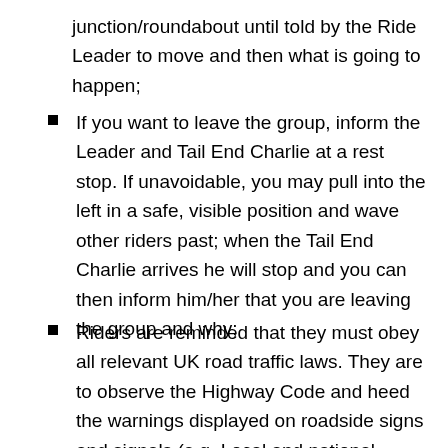junction/roundabout until told by the Ride Leader to move and then what is going to happen;
If you want to leave the group, inform the Leader and Tail End Charlie at a rest stop. If unavoidable, you may pull into the left in a safe, visible position and wave other riders past; when the Tail End Charlie arrives he will stop and you can then inform him/her that you are leaving the group and why;
Riders are reminded that they must obey all relevant UK road traffic laws. They are to observe the Highway Code and heed the warnings displayed on roadside signs and signals (e.g. Local and national speed limits);